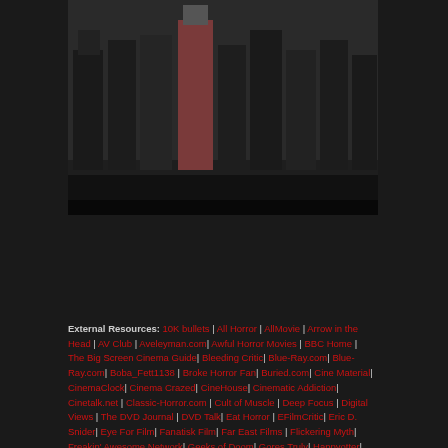[Figure (photo): Dark photo showing a group of people standing, lower bodies visible, taken from a low angle. Dark background below.]
External Resources: 10K bullets | All Horror | AllMovie | Arrow in the Head | AV Club | Aveleyman.com| Awful Horror Movies | BBC Home | The Big Screen Cinema Guide| Bleeding Critic| Blue-Ray.com| Blue-Ray.com| Boba_Fett1138 | Broke Horror Fan| Buried.com| Cine Material| CinemaClock| Cinema Crazed| CineHouse| Cinematic Addiction| Cinetalk.net | Classic-Horror.com | Cult of Muscle | Deep Focus | Digital Views | The DVD Journal | DVD Talk| Eat Horror | EFilmCritic| Eric D. Snider| Eye For Film| Fanatisk Film| Far East Films | Flickering Myth| Freakin' Awesome Network| Geeks of Doom| Gores Truly| Happyotter| High-Def Digest| Horror DNA| Horror News Network| The Horror Review | Horror World & Reviews| Horrorphilia| HorrorView | iCheck Movies | Influx Magazine| Internet Movie Database| Irish Film Critic| j.b.spins | jackass critics | Japan Cinema | Jay's Movie Blog | Joblo| Lessons of Darkness | Letterboxd| MaddWolf| Metacritic| MFS Movie Database | Moria – Science Fiction, Horror and Fantasy Film